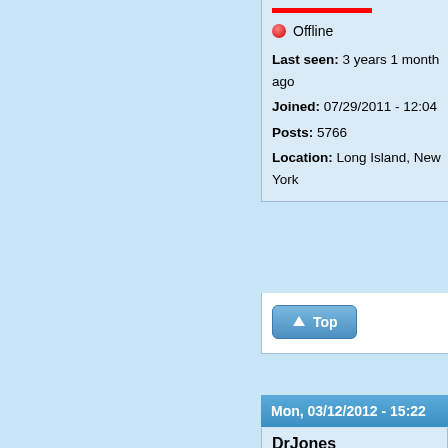Offline
Last seen: 3 years 1 month ago
Joined: 07/29/2011 - 12:04
Posts: 5766
Location: Long Island, New York
Top
Mon, 03/12/2012 - 15:22
DrJones
I was won
Boycott Nik
Nice graph
Please read our cookie and privacy policy.
By continuing to use this site you are agreeing to our cookie and privacy policy. No, give me more info
OK, I agree